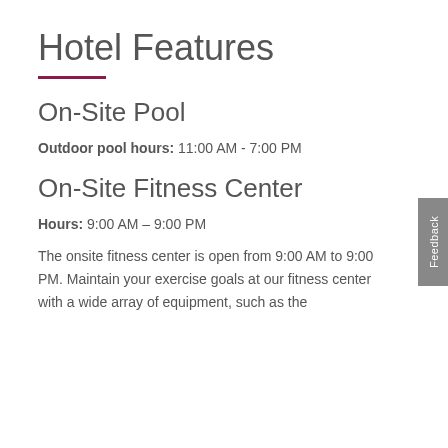Hotel Features
On-Site Pool
Outdoor pool hours: 11:00 AM - 7:00 PM
On-Site Fitness Center
Hours: 9:00 AM – 9:00 PM
The onsite fitness center is open from 9:00 AM to 9:00 PM. Maintain your exercise goals at our fitness center with a wide array of equipment, such as the